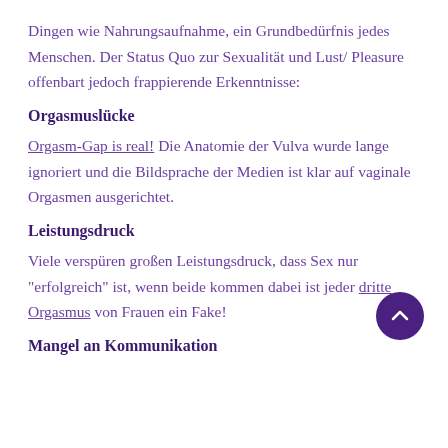Dingen wie Nahrungsaufnahme, ein Grundbedürfnis jedes Menschen. Der Status Quo zur Sexualität und Lust/ Pleasure offenbart jedoch frappierende Erkenntnisse:
Orgasmuslücke
Orgasm-Gap is real! Die Anatomie der Vulva wurde lange ignoriert und die Bildsprache der Medien ist klar auf vaginale Orgasmen ausgerichtet.
Leistungsdruck
Viele verspüren großen Leistungsdruck, dass Sex nur "erfolgreich" ist, wenn beide kommen dabei ist jeder dritte Orgasmus von Frauen ein Fake!
Mangel an Kommunikation